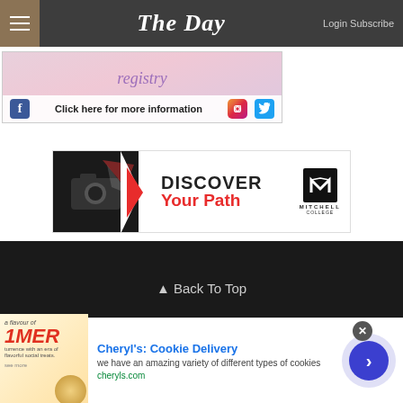The Day — Login Subscribe
[Figure (other): Advertisement banner with social media icons — Click here for more information]
[Figure (other): Mitchell College advertisement — DISCOVER Your Path]
▲ Back To Top
[Figure (logo): The Day newspaper footer logo]
[Figure (other): Cheryl's Cookie Delivery advertisement — we have an amazing variety of different types of cookies — cheryls.com]